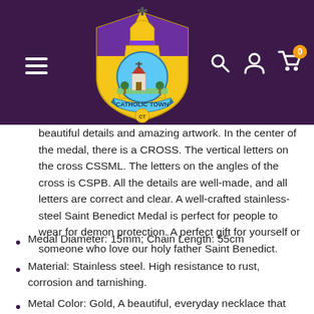[Figure (logo): Catholic Town logo: a heraldic shield with yellow bishop's mitre, purple and gold design, blue circular center showing a church building and fields, a ribbon banner reading 'CATHOLIC TOWN' and a circular emblem at the bottom.]
beautiful details and amazing artwork. In the center of the medal, there is a CROSS. The vertical letters on the cross CSSML. The letters on the angles of the cross is CSPB. All the details are well-made, and all letters are correct and clear. A well-crafted stainless-steel Saint Benedict Medal is perfect for people to wear for demon protection. A perfect gift for yourself or someone who love our holy father Saint Benedict.
Medal Diameter: 15mm; Chain Length: 55cm
Material: Stainless steel. High resistance to rust, corrosion and tarnishing.
Metal Color: Gold, A beautiful, everyday necklace that goes